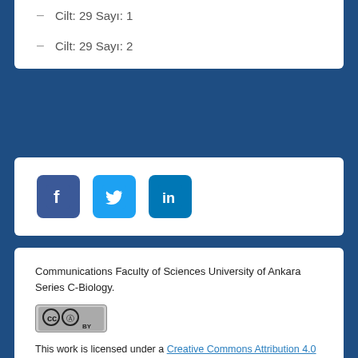Cilt: 29 Sayı: 1
Cilt: 29 Sayı: 2
[Figure (other): Social media icons: Facebook, Twitter, LinkedIn]
Communications Faculty of Sciences University of Ankara Series C-Biology.
[Figure (logo): Creative Commons CC BY license badge]
This work is licensed under a Creative Commons Attribution 4.0 International License.